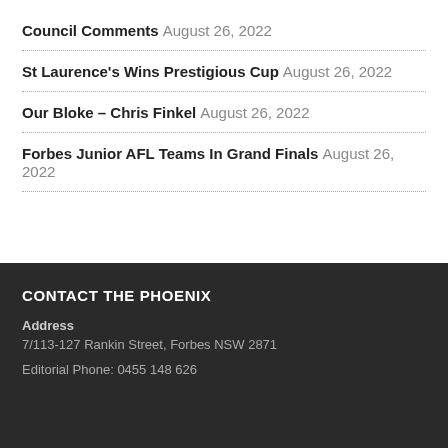Council Comments August 26, 2022
St Laurence's Wins Prestigious Cup August 26, 2022
Our Bloke – Chris Finkel August 26, 2022
Forbes Junior AFL Teams In Grand Finals August 26, 2022
CONTACT THE PHOENIX
Address
7/113-127 Rankin Street, Forbes NSW 2871
Editorial Phone: 0455 148 626